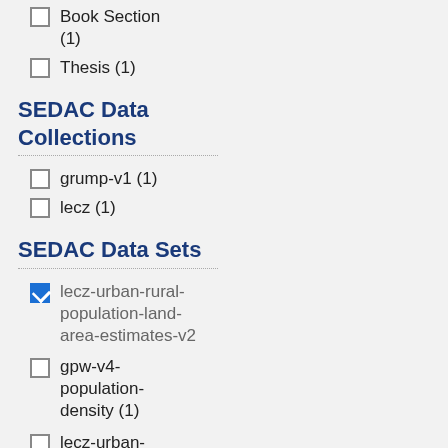Book Section (1)
Thesis (1)
SEDAC Data Collections
grump-v1 (1)
lecz (1)
SEDAC Data Sets
lecz-urban-rural-population-land-area-estimates-v2 [checked]
gpw-v4-population-density (1)
lecz-urban-rural-population-estimates-v1 (1)